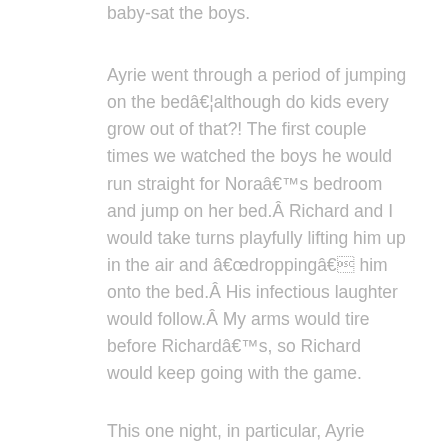baby-sat the boys.
Ayrie went through a period of jumping on the bedâ€¦although do kids every grow out of that?! The first couple times we watched the boys he would run straight for Noraâ€™s bedroom and jump on her bed.Â  Richard and I would take turns playfully lifting him up in the air and â€œdroppingâ€ him onto the bed.Â  His infectious laughter would follow.Â  My arms would tire before Richardâ€™s, so Richard would keep going with the game.
This one night, in particular, Ayrie